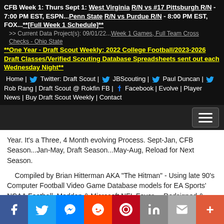CFB Week 1: Thurs Sept 1: West Virginia R/N vs #17 Pittsburgh R/N - 7:00 PM EST, ESPN...Penn State R/N vs Purdue R/N - 8:00 PM EST, FOX...**[Full Week 1 Schedule]**
>> Current Data Project(s): 09/01/22...Week 1 Games, Full Team Cross Checks - Ohio State
**One Year - Draft Scout Weekly: 2022 College Football/2023-2026 Draft Classes/Verified Scouting Database Spreadsheets sent out each Wednesday Night**
Home | Twitter: Draft Scout | JBScouting | Paul Duncan | Rob Rang | Draft Scout @ Rokfin FB | Facebook | Evolve | Player News | Buy Draft Scout Weekly | Contact
Year. It's a Three, 4 Month evolving Process. Sept-Jan, CFB Season...Jan-May, Draft Season...May-Aug, Reload for Next Season.
Compiled by Brian Hitterman AKA "The Hitman" - Using late 90's Computer Football Video Game Database models for EA Sports' NCAA Football, Madden & Microsoft NFL Fever ... Redsigned & Rebuilt 1997's Bill Walsh NFL Draft Insider (Wayback Alert! The Genius, Icon & Legend Coach - Click to See It) into